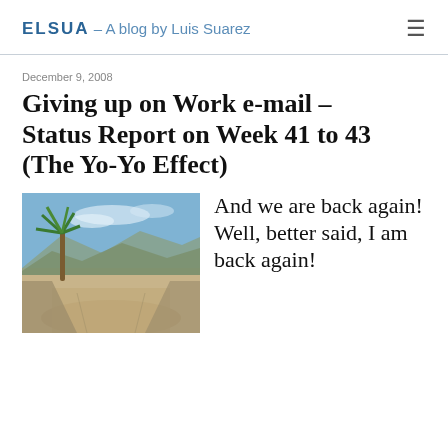ELSUA – A blog by Luis Suarez
December 9, 2008
Giving up on Work e-mail – Status Report on Week 41 to 43 (The Yo-Yo Effect)
[Figure (photo): Outdoor landscape photograph showing a dry riverbed or canal with a palm tree on the left, mountains in the background, and a blue sky with light clouds.]
And we are back again! Well, better said, I am back again!